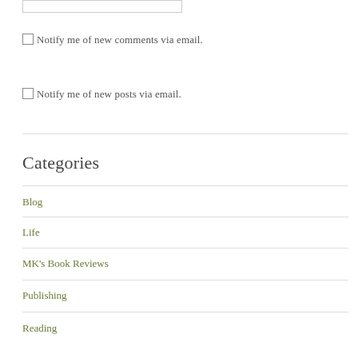[Figure (other): Partial text input box at top of page]
Notify me of new comments via email.
Notify me of new posts via email.
Categories
Blog
Life
MK's Book Reviews
Publishing
Reading